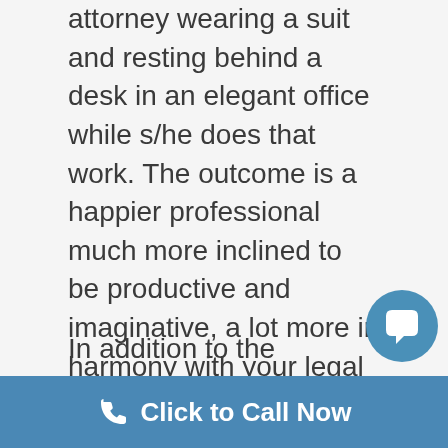attorney wearing a suit and resting behind a desk in an elegant office while s/he does that work. The outcome is a happier professional much more inclined to be productive and imaginative, a lot more in harmony with your legal and economic interests, a reduced expense of working and a more affordable bundle for the wise divorce consumer. Virtual divorce is the law practice equivalent of the gig economy.
In addition to the developing trend of virtual law practice, there is also the Bar Association approved use of what are called unbundled services. What this means is that you will just make use of the Laguna Hills divorce attorney for
[Figure (other): Blue circular chat bubble icon in the top-right area of the second paragraph]
Click to Call Now